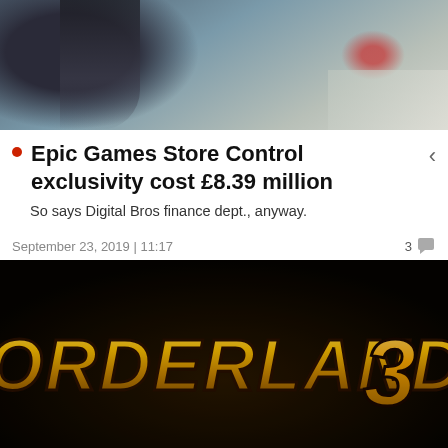[Figure (photo): Top portion of a website screenshot showing a blurred game scene with a character holding a weapon]
Epic Games Store Control exclusivity cost £8.39 million
So says Digital Bros finance dept., anyway.
September 23, 2019 | 11:17   3
[Figure (photo): Borderlands 3 logo in golden yellow 3D lettering on dark background]
In line with recent changes to data protection legislation in the UK and Europe we would like to direct you to our updated Privacy Policy here.
Dismiss